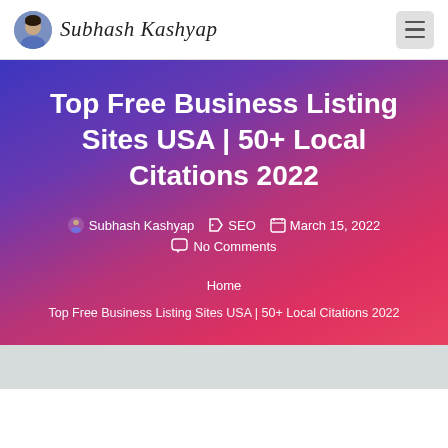Subhash Kashyap
Top Free Business Listing Sites USA | 50+ Local Citations 2022
Subhash Kashyap  SEO  March 15, 2022  No Comments
Home
Top Free Business Listing Sites USA | 50+ Local Citations 2022